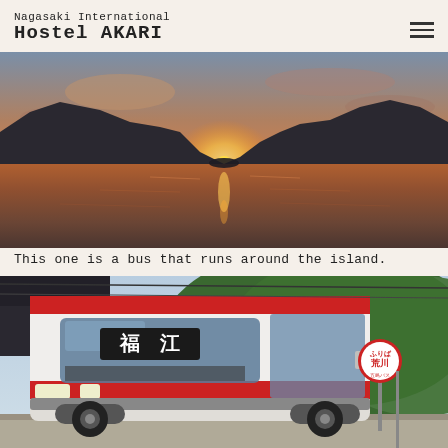Nagasaki International Hostel AKARI
[Figure (photo): Sunset over a calm bay with mountain silhouettes on both sides, orange sky reflecting on water]
This one is a bus that runs around the island.
[Figure (photo): A red and white bus with Japanese kanji 福江 on the destination display, parked at a bus stop with a red and white circular sign reading 荒川, green hills in background]